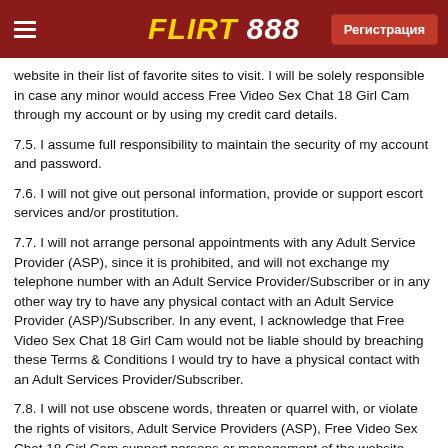FLIRT 888 — Регистрация
website in their list of favorite sites to visit. I will be solely responsible in case any minor would access Free Video Sex Chat 18 Girl Cam through my account or by using my credit card details.
7.5. I assume full responsibility to maintain the security of my account and password.
7.6. I will not give out personal information, provide or support escort services and/or prostitution.
7.7. I will not arrange personal appointments with any Adult Service Provider (ASP), since it is prohibited, and will not exchange my telephone number with an Adult Service Provider/Subscriber or in any other way try to have any physical contact with an Adult Service Provider (ASP)/Subscriber. In any event, I acknowledge that Free Video Sex Chat 18 Girl Cam would not be liable should by breaching these Terms & Conditions I would try to have a physical contact with an Adult Services Provider/Subscriber.
7.8. I will not use obscene words, threaten or quarrel with, or violate the rights of visitors, Adult Service Providers (ASP), Free Video Sex Chat 18 Girl Cam support persons or management of the website, since it is prohibited.
7.9. Text content sent or forwarded and the chosen user name will not be offensive, will not suggest pedophilia, adolescence, bestiality or zoophilia, necrophilia or refer to emanation or consumption of any